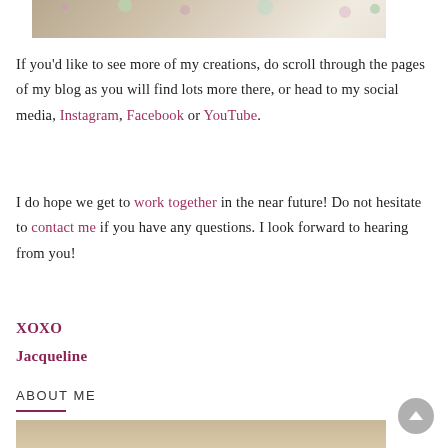[Figure (photo): Top portion of a decorated item with sparkly embellishments visible at the top edge of the page]
If you'd like to see more of my creations, do scroll through the pages of my blog as you will find lots more there, or head to my social media, Instagram, Facebook or YouTube.
I do hope we get to work together in the near future! Do not hesitate to contact me if you have any questions. I look forward to hearing from you!
XOXO
Jacqueline
ABOUT ME
[Figure (photo): Bottom portion of a photo showing what appears to be a person, cropped at page bottom]